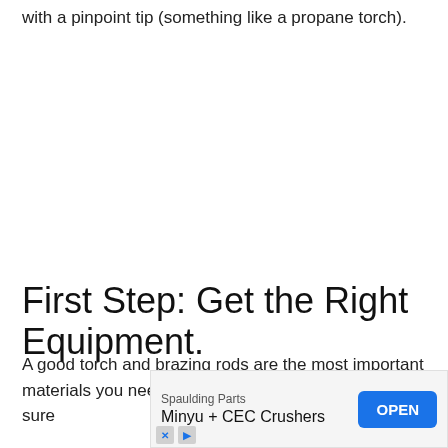with a pinpoint tip (something like a propane torch).
First Step: Get the Right Equipment.
A good torch and brazing rods are the most important materials you need when welding aluminum. Make sure
[Figure (other): Advertisement banner: Spaulding Parts - Minyu + CEC Crushers with OPEN button]